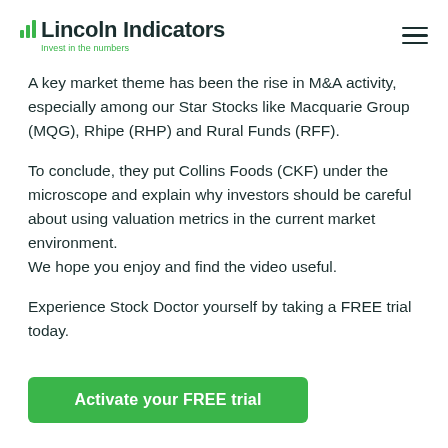Lincoln Indicators — Invest in the numbers
A key market theme has been the rise in M&A activity, especially among our Star Stocks like Macquarie Group (MQG), Rhipe (RHP) and Rural Funds (RFF).
To conclude, they put Collins Foods (CKF) under the microscope and explain why investors should be careful about using valuation metrics in the current market environment.
We hope you enjoy and find the video useful.
Experience Stock Doctor yourself by taking a FREE trial today.
Activate your FREE trial